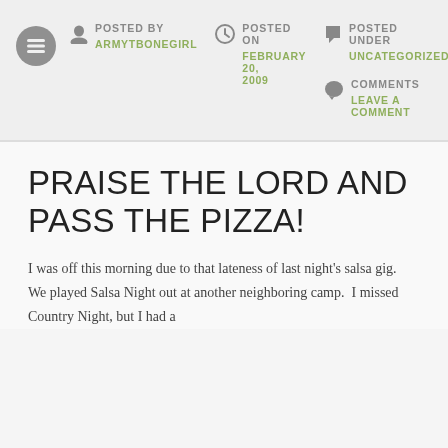POSTED BY ARMYTBONEGIRL | POSTED ON FEBRUARY 20, 2009 | POSTED UNDER UNCATEGORIZED | COMMENTS LEAVE A COMMENT
PRAISE THE LORD AND PASS THE PIZZA!
I was off this morning due to that lateness of last night's salsa gig.  We played Salsa Night out at another neighboring camp.  I missed Country Night, but I had a